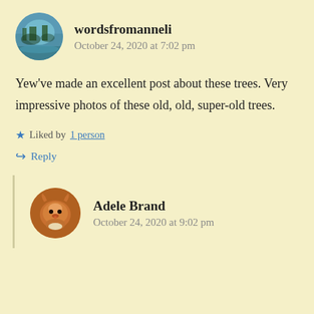wordsfromanneli
October 24, 2020 at 7:02 pm
Yew’ve made an excellent post about these trees. Very impressive photos of these old, old, super-old trees.
Liked by 1 person
Reply
Adele Brand
October 24, 2020 at 9:02 pm